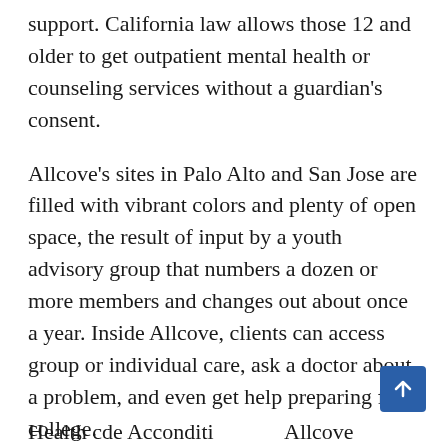support. California law allows those 12 and older to get outpatient mental health or counseling services without a guardian's consent.
Allcove's sites in Palo Alto and San Jose are filled with vibrant colors and plenty of open space, the result of input by a youth advisory group that numbers a dozen or more members and changes out about once a year. Inside Allcove, clients can access group or individual care, ask a doctor about a problem, and even get help preparing for college.
Health cde Accondi...